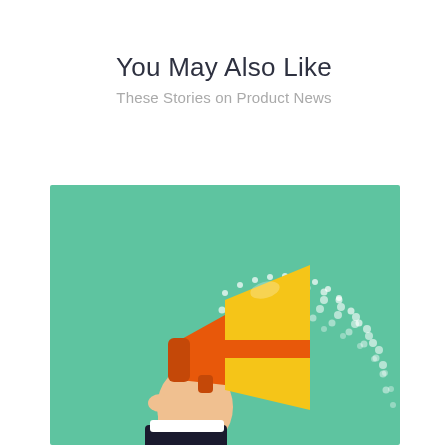You May Also Like
These Stories on Product News
[Figure (illustration): Illustration of a hand in a business suit sleeve holding an orange and yellow megaphone/bullhorn on a teal/green background with white halftone dot pattern suggesting sound waves emanating from the megaphone]